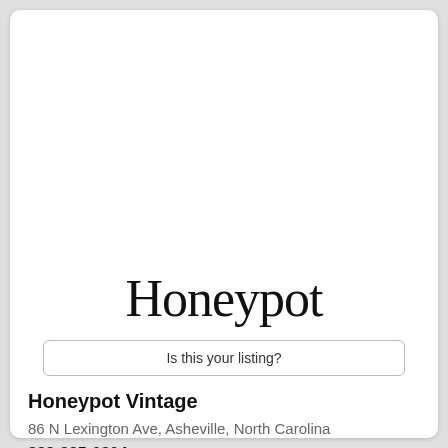[Figure (logo): Honeypot logo: cluster of colorful hexagons in pink, purple, lavender, yellow/gold, red, mauve, and coral/salmon arranged in a honeycomb pattern, with the word 'Honeypot' in large serif font below]
Is this your listing?
Honeypot Vintage
86 N Lexington Ave, Asheville, North Carolina
828-225-0304